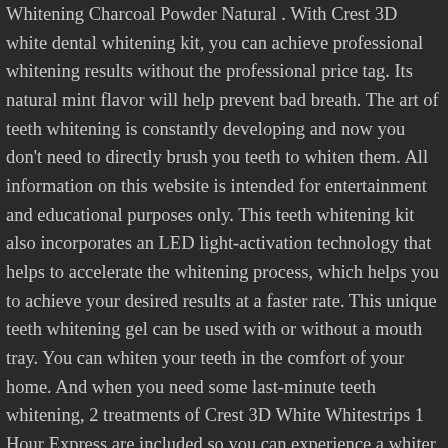Whitening Charcoal Powder Natural . With Crest 3D white dental whitening kit, you can achieve professional whitening results without the professional price tag. Its natural mint flavor will help prevent bad breath. The art of teeth whitening is constantly developing and now you don't need to directly brush you teeth to whiten them. All information on this website is intended for entertainment and educational purposes only. This teeth whitening kit also incorporates an LED light-activation technology that helps to accelerate the whitening process, which helps you to achieve your desired results at a faster rate. This unique teeth whitening gel can be used with or without a mouth tray. You can whiten your teeth in the comfort of your home. And when you need some last-minute teeth whitening, 2 treatments of Crest 3D White Whitestrips 1 Hour Express are included so you can experience a whiter smile in just 1 hour for an unexpected event. The top 10 list of the best teeth whitening strips lists various manufacturers and prices. You need to take a few precautions to avoid any side effects. While most teeth whitening products require a minimum of 14 days use, this kit promises results in less than half that time. The active ingredient in teeth whitening gel is carbamide peroxide. We choose the top most quality product, which comes with amazing features you've never head